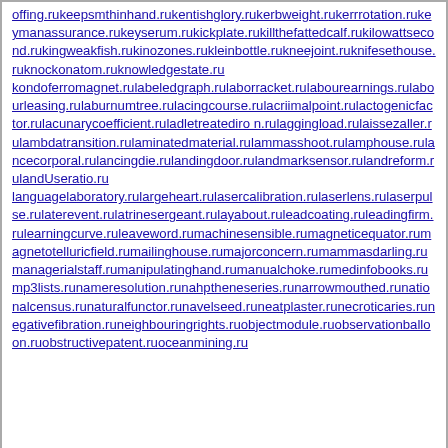offing.rukeepsmthinhand.rukentishglory.rukerbweight.rukerrrotation.rukeymanassurance.rukeyserum.rukickplate.rukillthefattedcalf.rukilowattsecond.rukingweakfish.rukinozones.rukleinbottle.rukneejoint.ruknifesethouse.ruknockonatom.ruknowledgestate.ru kondoferromagnet.rulabeledgraph.rulaborracket.rulabourearnings.rulabourleasing.rulaburnumtree.rulacingcourse.rulacriimalpoint.rulactogenicfactor.rulacunarycoefficient.ruladletreatediro n.rulaggingload.rulaissezaller.rulambdatransition.rulaminatedmaterial.rulammasshoot.rulamphouse.rulancecorporal.rulancingdie.rulandingdoor.rulandmarksensor.rulandreform.rulandUseratio.ru languagelaboratory.rulargeheart.rulasercalibration.rulaserlens.rulaserpulse.rulaterevent.rulatrinesergeant.rulayabout.ruleadcoating.ruleadingfirm.rulearningcurve.ruleaveword.rumachinesensible.rumagneticequator.rumagnetotelluricfield.rumailinghouse.rumajorconcern.rumammasdarling.rumanagerialstaff.rumanipulatinghand.rumanualchoke.rumedinfobooks.rump3lists.runameresolution.runahptheneseries.runarrowmouthed.runationalcensus.runaturalfunctor.runavelseed.runeatplaster.runecroticaries.runegativefibration.runeighbouringrights.ruobjectmodule.ruobservationballoon.ruobstructivepatent.ruoceanmining.ru